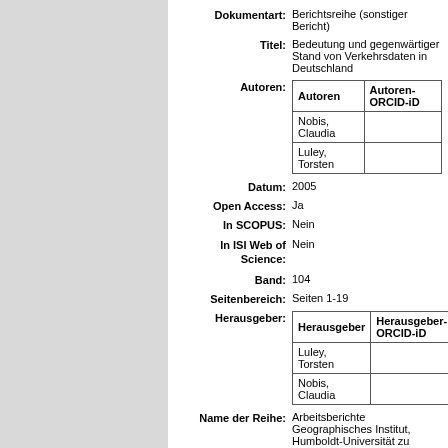Dokumentart: Berichtsreihe (sonstiger Bericht)
Titel: Bedeutung und gegenwärtiger Stand von Verkehrsdaten in Deutschland
| Autoren | Autoren-ORCID-iD |
| --- | --- |
| Nobis, Claudia |  |
| Luley, Torsten |  |
Datum: 2005
Open Access: Ja
In SCOPUS: Nein
In ISI Web of Science: Nein
Band: 104
Seitenbereich: Seiten 1-19
| Herausgeber | Herausgeber-ORCID-iD |
| --- | --- |
| Luley, Torsten |  |
| Nobis, Claudia |  |
Name der Reihe: Arbeitsberichte Geographisches Institut, Humboldt-Universität zu Berlin,